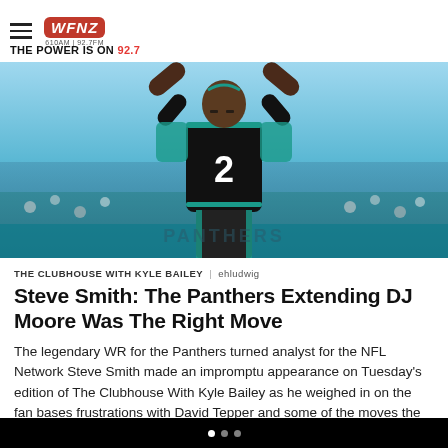WFNZ 610AM | 92.7FM — THE POWER IS ON 92.7
[Figure (photo): Carolina Panthers player wearing black jersey number 2, arms raised, with stadium crowd in background]
THE CLUBHOUSE WITH KYLE BAILEY | ehludwig
Steve Smith: The Panthers Extending DJ Moore Was The Right Move
The legendary WR for the Panthers turned analyst for the NFL Network Steve Smith made an impromptu appearance on Tuesday's edition of The Clubhouse With Kyle Bailey as he weighed in on the fan bases frustrations with David Tepper and some of the moves the Panthers have made so far in Free Agency...